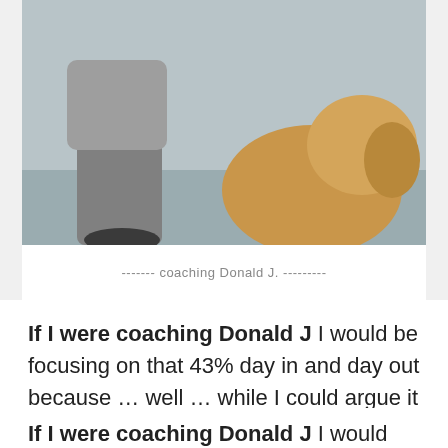[Figure (photo): Photo of a person sitting with a dog, outdoors against a grey wall background. Person wearing grey hoodie and dark pants, large golden/tan dog beside them.]
------- coaching Donald J. ---------
If I were coaching Donald J I would be focusing on that 43% day in and day out because … well … while I could argue it is the potential pathway to alignment … they actually reflect 'effectiveness.'
If I were coaching Donald J I would tell